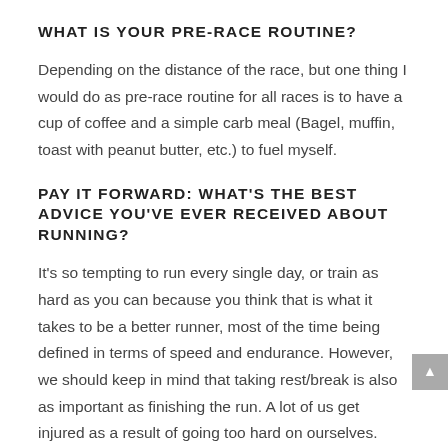WHAT IS YOUR PRE-RACE ROUTINE?
Depending on the distance of the race, but one thing I would do as pre-race routine for all races is to have a cup of coffee and a simple carb meal (Bagel, muffin, toast with peanut butter, etc.) to fuel myself.
PAY IT FORWARD: WHAT'S THE BEST ADVICE YOU'VE EVER RECEIVED ABOUT RUNNING?
It's so tempting to run every single day, or train as hard as you can because you think that is what it takes to be a better runner, most of the time being defined in terms of speed and endurance. However, we should keep in mind that taking rest/break is also as important as finishing the run. A lot of us get injured as a result of going too hard on ourselves.